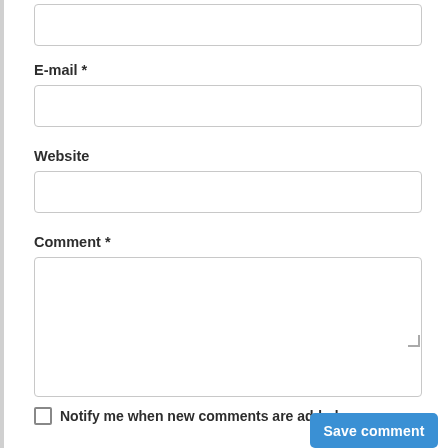(input box - top, partially visible)
E-mail *
Website
Comment *
Notify me when new comments are added
Save comment